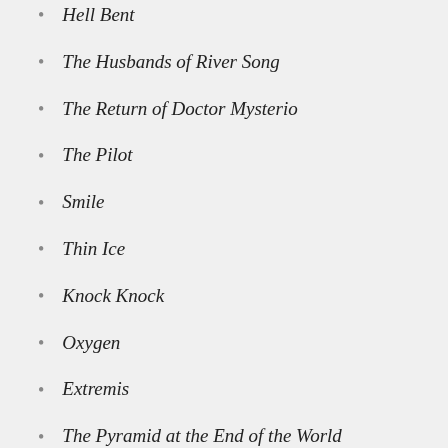Hell Bent
The Husbands of River Song
The Return of Doctor Mysterio
The Pilot
Smile
Thin Ice
Knock Knock
Oxygen
Extremis
The Pyramid at the End of the World
The Lie of the Land
Empress of Mars